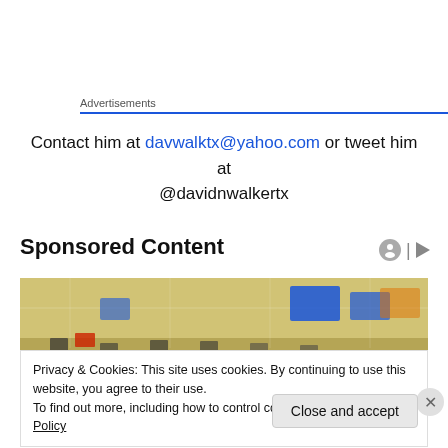Advertisements
Contact him at davwalktx@yahoo.com or tweet him at @davidnwalkertx
Sponsored Content
[Figure (photo): Interior of a retail store (Walmart-style) showing checkout lanes and store signage with blue and yellow colors]
Privacy & Cookies: This site uses cookies. By continuing to use this website, you agree to their use.
To find out more, including how to control cookies, see here: Cookie Policy
Close and accept